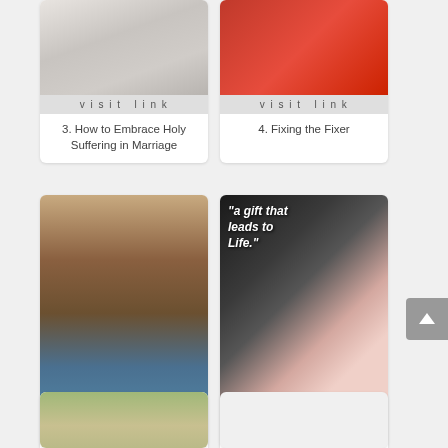[Figure (photo): Partial top of card 3: wedding dress detail photo]
visit link
3. How to Embrace Holy Suffering in Marriage
[Figure (photo): Partial top of card 4: red fabric/dress detail photo]
visit link
4. Fixing the Fixer
[Figure (photo): Card 5: woman with curly hair in denim jacket smiling outdoors]
visit link
5. Angel in the Baking Aisle
[Figure (photo): Card 6: quote overlay 'a gift that leads to Life.' with pink rose and white fence]
visit link
6. Of Pruning, Guarding & Restoration
[Figure (photo): Partial bottom card: person outdoors]
[Figure (photo): Partial bottom card: empty/gray]